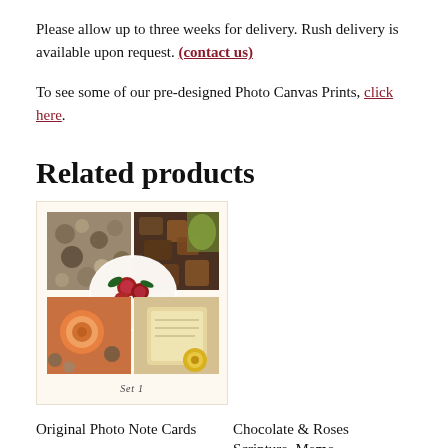Please allow up to three weeks for delivery. Rush delivery is available upon request. (contact us)
To see some of our pre-designed Photo Canvas Prints, click here.
Related products
[Figure (photo): Product photo collage showing multiple images arranged in a 2x2 grid with roses, chocolates, stones, and other items. Labeled 'Set 1' at the bottom.]
Original Photo Note Cards
Chocolate & Roses Scripture  Memo